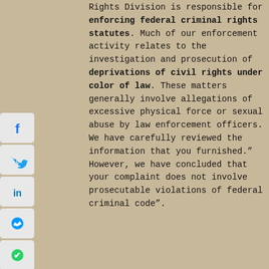Rights Division is responsible for enforcing federal criminal rights statutes. Much of our enforcement activity relates to the investigation and prosecution of deprivations of civil rights under color of law. These matters generally involve allegations of excessive physical force or sexual abuse by law enforcement officers. We have carefully reviewed the information that you furnished.” However, we have concluded that your complaint does not involve prosecutable violations of federal criminal code”.
[Figure (other): Social media share buttons sidebar: Facebook (f), Twitter (bird), LinkedIn (in), Messenger, WhatsApp icons stacked vertically on left side]
[Figure (other): Facebook Like button showing 915 likes in blue]
[Figure (other): Grey circular back/previous navigation button with left arrow]
he third criminal case complaint was submitted in June 2020, via certified U.S. mail to the DOJ Criminal Division, with a copy of my book (court transcripts/ court orders). DID THE DOJ ACT AS AN ACCOMPLICE/ACCESSORY/CONSPIRATOR